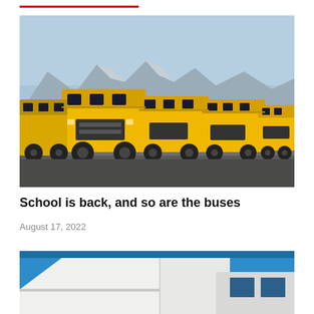[Figure (photo): A row of yellow school buses parked in a lot with mountains and blue sky in the background]
School is back, and so are the buses
August 17, 2022
[Figure (photo): Partial view of a white modern school building exterior against a bright blue sky]